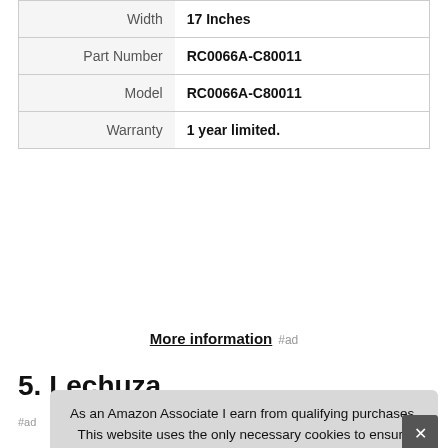| Attribute | Value |
| --- | --- |
| Width | 17 Inches |
| Part Number | RC0066A-C80011 |
| Model | RC0066A-C80011 |
| Warranty | 1 year limited. |
More information #ad
5. Lechuza
As an Amazon Associate I earn from qualifying purchases. This website uses the only necessary cookies to ensure you get the best experience on our website. More information